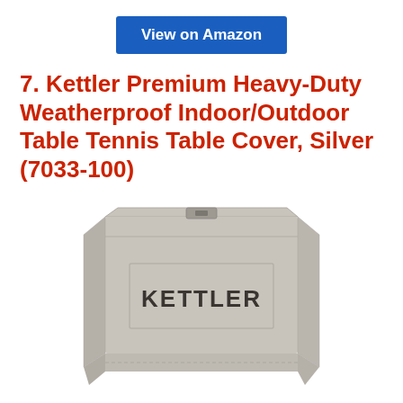View on Amazon
7. Kettler Premium Heavy-Duty Weatherproof Indoor/Outdoor Table Tennis Table Cover, Silver (7033-100)
[Figure (photo): Silver/grey Kettler table tennis table cover with KETTLER logo printed in dark text on the front panel, shown standing upright against a white background.]